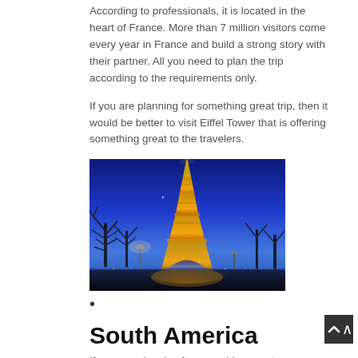According to professionals, it is located in the heart of France. More than 7 million visitors come every year in France and build a strong story with their partner. All you need to plan the trip according to the requirements only.
If you are planning for something great trip, then it would be better to visit Eiffel Tower that is offering something great to the travelers.
[Figure (photo): Night photo of the illuminated Eiffel Tower against a blue twilight sky with bare trees and street lights in the foreground]
•
South America
If you are planning for something great...